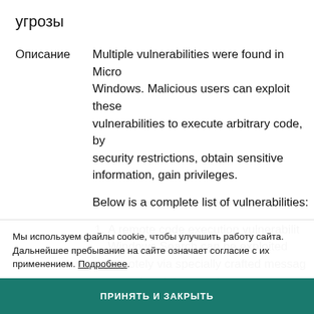угрозы
Описание   Multiple vulnerabilities were found in Microsoft Windows. Malicious users can exploit these vulnerabilities to execute arbitrary code, bypass security restrictions, obtain sensitive information, gain privileges.

Below is a complete list of vulnerabilities:
1. A remote code execution vulnerability in Windows Search can be exploited remotely via specially crafted messages to execute arbitrary code.
2. A security feature bypass vulnerability in Device Guard Code Integrity Policy can be exploited remotely to bypass security restrictions.
3. An information disclosure vulnerability can be exploited remotely via specially crafted docume...
Мы используем файлы cookie, чтобы улучшить работу сайта. Дальнейшее пребывание на сайте означает согласие с их применением. Подробнее.
ПРИНЯТЬ И ЗАКРЫТЬ